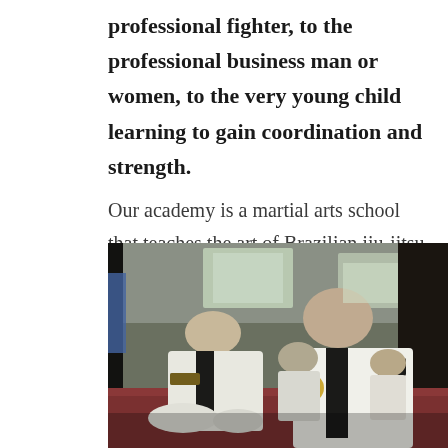professional fighter, to the professional business man or women, to the very young child learning to gain coordination and strength.
Our academy is a martial arts school that teaches the art of Brazilian jiu-jitsu in a martial arts setting.
[Figure (photo): Group of Brazilian jiu-jitsu practitioners sitting on a red mat in a gym/academy setting, wearing white gis (kimonos) with black belts. A central figure in the foreground looks toward the camera while others sit in the background.]